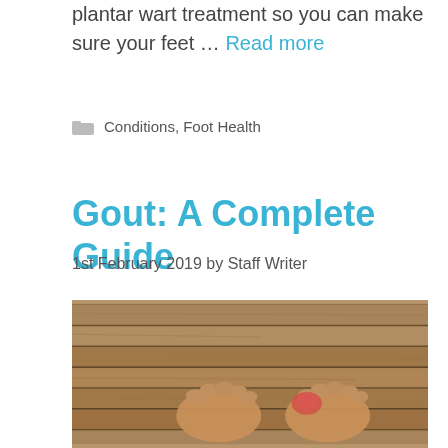plantar wart treatment so you can make sure your feet … Read more
Conditions, Foot Health
Gout: A Complete Guide
1st February 2019 by Staff Writer
[Figure (photo): Two bare feet viewed from above resting on wooden decking boards. The right foot shows redness and swelling around the big toe, characteristic of gout.]